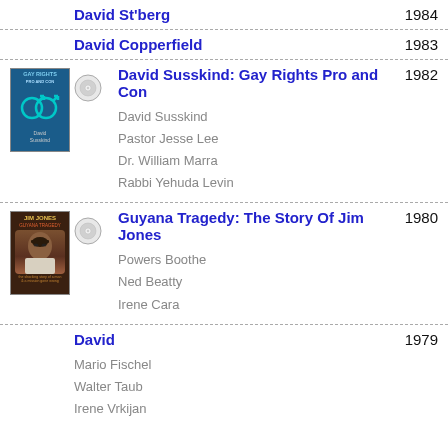David St'berg 1984
David Copperfield 1983
David Susskind: Gay Rights Pro and Con 1982 — David Susskind, Pastor Jesse Lee, Dr. William Marra, Rabbi Yehuda Levin
Guyana Tragedy: The Story Of Jim Jones 1980 — Powers Boothe, Ned Beatty, Irene Cara
David 1979 — Mario Fischel, Walter Taub, Irene Vrkijan